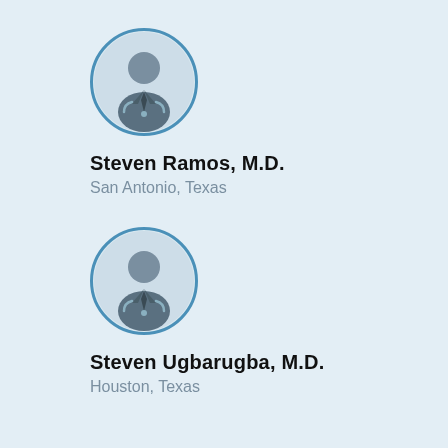[Figure (illustration): Circular avatar icon of a generic doctor/physician silhouette with suit, tie, and stethoscope, inside a blue-bordered circle with light blue background. First entry for Steven Ramos.]
Steven Ramos, M.D.
San Antonio, Texas
[Figure (illustration): Circular avatar icon of a generic doctor/physician silhouette with suit, tie, and stethoscope, inside a blue-bordered circle with light blue background. Second entry for Steven Ugbarugba.]
Steven Ugbarugba, M.D.
Houston, Texas